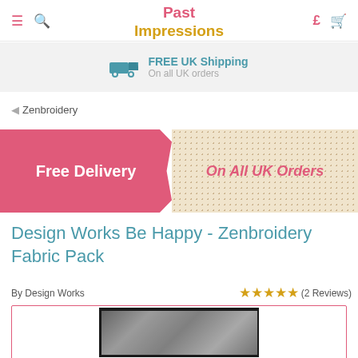Past Impressions
FREE UK Shipping On all UK orders
◄ Zenbroidery
[Figure (infographic): Promotional banner with pink left section reading 'Free Delivery' and dotted beige right section reading 'On All UK Orders']
Design Works Be Happy - Zenbroidery Fabric Pack
By Design Works
★★★★★ (2 Reviews)
[Figure (photo): Product image of the Zenbroidery fabric pack, partially visible at the bottom of the page]